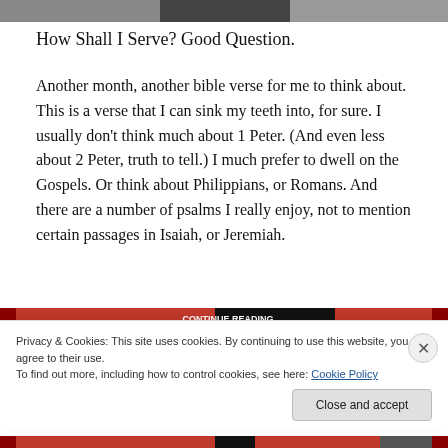[Figure (photo): Grayscale image at top of page, partially visible]
How Shall I Serve? Good Question.
Another month, another bible verse for me to think about. This is a verse that I can sink my teeth into, for sure. I usually don't think much about 1 Peter. (And even less about 2 Peter, truth to tell.) I much prefer to dwell on the Gospels. Or think about Philippians, or Romans. And there are a number of psalms I really enjoy, not to mention certain passages in Isaiah, or Jeremiah.
[Figure (other): Red and black banner/image strip visible in background]
Privacy & Cookies: This site uses cookies. By continuing to use this website, you agree to their use.
To find out more, including how to control cookies, see here: Cookie Policy
Close and accept